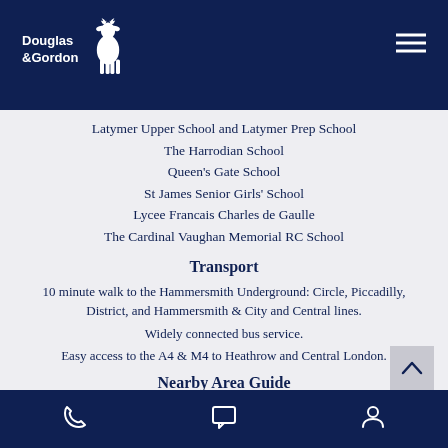Douglas & Gordon
Latymer Upper School and Latymer Prep School
The Harrodian School
Queen's Gate School
St James Senior Girls' School
Lycee Francais Charles de Gaulle
The Cardinal Vaughan Memorial RC School
Transport
10 minute walk to the Hammersmith Underground: Circle, Piccadilly, District, and Hammersmith & City and Central lines.
Widely connected bus service.
Easy access to the A4 & M4 to Heathrow and Central London.
Nearby Area Guide
Phone | Chat | Account